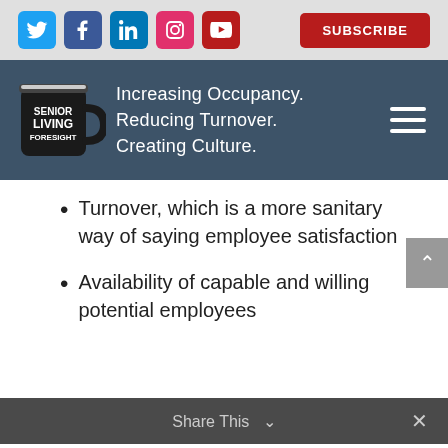[Figure (screenshot): Social media icons bar with Twitter, Facebook, LinkedIn, Instagram, YouTube icons and a Subscribe button]
[Figure (logo): Senior Living Foresight logo with a black mug and tagline: Increasing Occupancy. Reducing Turnover. Creating Culture.]
Turnover, which is a more sanitary way of saying employee satisfaction
Availability of capable and willing potential employees
The cost of labor
Share This ∨  ×